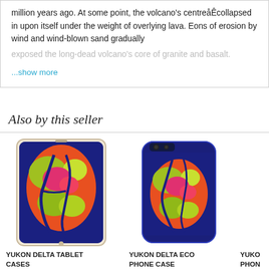million years ago. At some point, the volcano's centreåÊcollapsed in upon itself under the weight of overlying lava. Eons of erosion by wind and wind-blown sand gradually exposed the long-dead volcano's core of granite and basalt.
...show more
Also by this seller
[Figure (photo): Tablet case with colorful satellite image of Yukon Delta — vivid orange, pink, yellow, and green landmass on deep blue background]
YUKON DELTA TABLET CASES
[Figure (photo): Eco phone case with colorful satellite image of Yukon Delta — vivid orange, pink, yellow, and green landmass on deep blue background]
YUKON DELTA ECO PHONE CASE
YUKO PHON